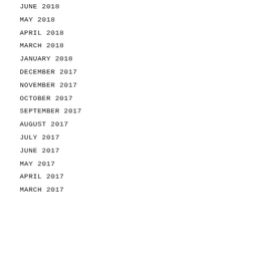JUNE 2018
MAY 2018
APRIL 2018
MARCH 2018
JANUARY 2018
DECEMBER 2017
NOVEMBER 2017
OCTOBER 2017
SEPTEMBER 2017
AUGUST 2017
JULY 2017
JUNE 2017
MAY 2017
APRIL 2017
MARCH 2017